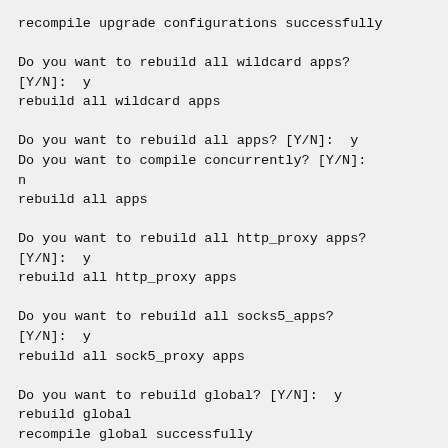recompile upgrade configurations successfully

Do you want to rebuild all wildcard apps?
[Y/N]:  y
rebuild all wildcard apps

Do you want to rebuild all apps? [Y/N]:  y
Do you want to compile concurrently? [Y/N]:
n
rebuild all apps

Do you want to rebuild all http_proxy apps?
[Y/N]:  y
rebuild all http_proxy apps

Do you want to rebuild all socks5_apps?
[Y/N]:  y
rebuild all sock5_proxy apps

Do you want to rebuild global? [Y/N]:  y
rebuild global
recompile global successfully